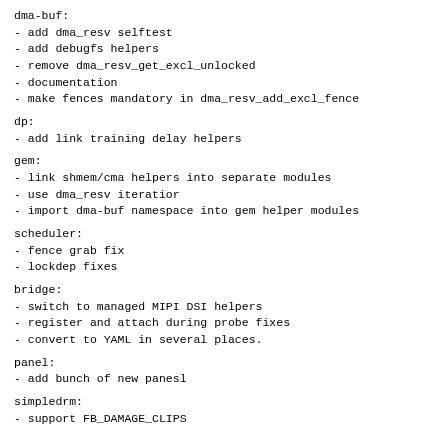dma-buf:
- add dma_resv selftest
- add debugfs helpers
- remove dma_resv_get_excl_unlocked
- documentation
- make fences mandatory in dma_resv_add_excl_fence
dp:
- add link training delay helpers
gem:
- link shmem/cma helpers into separate modules
- use dma_resv iteratior
- import dma-buf namespace into gem helper modules
scheduler:
- fence grab fix
- lockdep fixes
bridge:
- switch to managed MIPI DSI helpers
- register and attach during probe fixes
- convert to YAML in several places.
panel:
- add bunch of new panesl
simpledrm:
- support FB_DAMAGE_CLIPS